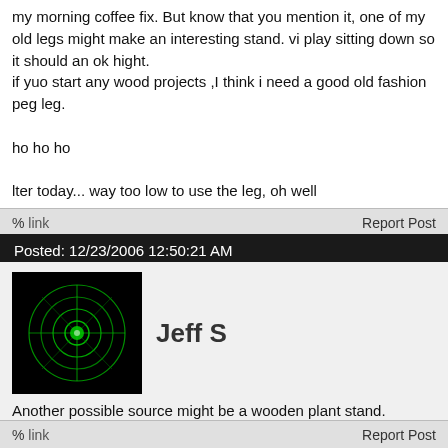my morning coffee fix. But know that you mention it, one of my old legs might make an interesting stand. vi play sitting down so it should an ok hight.
if yuo start any wood projects ,I think i need a good old fashion peg leg.

ho ho ho

lter today... way too low to use the leg, oh well
link   Report Post
Posted: 12/23/2006 12:50:21 AM
Jeff S
Another possible source might be a wooden plant stand.

You might be able to create your own with a little creativity. You might be able to find everything you need in the hardwood department of your local big box hardware store. Look in the aisle with the banister/stair railings, porch columns, etc.
link   Report Post